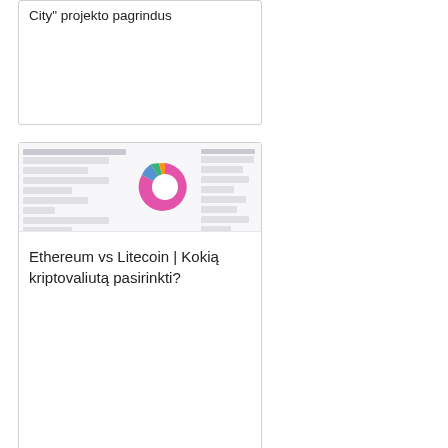City" projekto pagrindus
[Figure (screenshot): Screenshot of a cryptocurrency comparison dashboard showing a donut chart and data tables comparing Ethereum and Litecoin]
Ethereum vs Litecoin | Kokią kriptovaliutą pasirinkti?
[Figure (photo): Partial photo with sky gradient colors, light blue and warm tones]